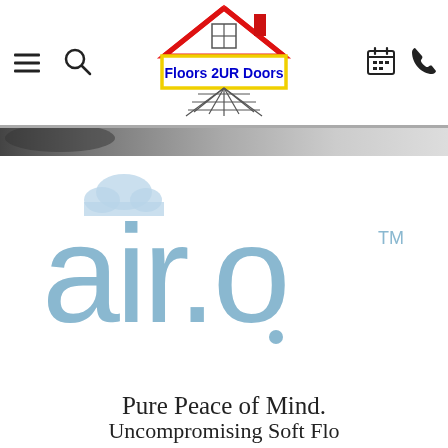[Figure (logo): Floors 2UR Doors website header with hamburger menu, search icon, company logo (house with red roof and yellow border, text 'Floors 2UR Doors' in blue), calendar icon, and phone icon]
[Figure (logo): air.o brand logo in light blue with a cloud above the letter 'a' and a TM symbol, on white background]
Pure Peace of Mind.
Uncompromising Soft Flooring